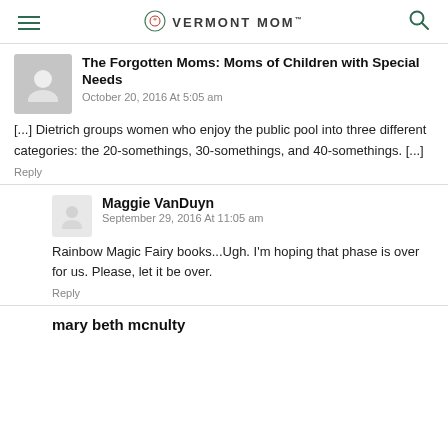VERMONT MOM
The Forgotten Moms: Moms of Children with Special Needs
October 20, 2016 At 5:05 am
[...] Dietrich groups women who enjoy the public pool into three different categories: the 20-somethings, 30-somethings, and 40-somethings. [...]
Reply
Maggie VanDuyn
September 29, 2016 At 11:05 am
Rainbow Magic Fairy books...Ugh. I'm hoping that phase is over for us. Please, let it be over.
Reply
mary beth mcnulty